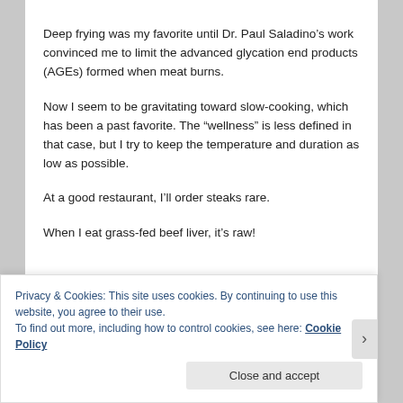Deep frying was my favorite until Dr. Paul Saladino’s work convinced me to limit the advanced glycation end products (AGEs) formed when meat burns.
Now I seem to be gravitating toward slow-cooking, which has been a past favorite. The “wellness” is less defined in that case, but I try to keep the temperature and duration as low as possible.
At a good restaurant, I’ll order steaks rare.
When I eat grass-fed beef liver, it’s raw!
Privacy & Cookies: This site uses cookies. By continuing to use this website, you agree to their use.
To find out more, including how to control cookies, see here: Cookie Policy
Close and accept